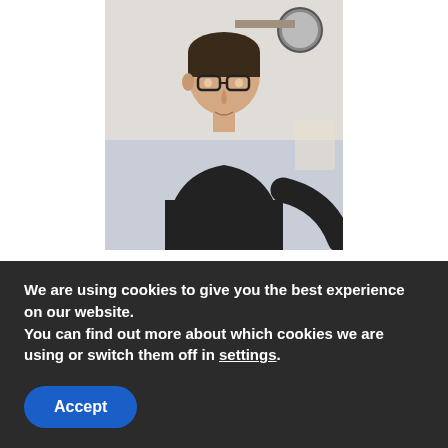[Figure (photo): Portrait photo of a young man wearing a dark t-shirt, looking to the side, with shelves visible in the background]
Stanislav Krotov
Hello there. My name is Stanislav and I live in USA St. Petersburg, FL. I am is a technical writer with a passion for writing on emerging technologies in the areas of mobile application development and IoT technology.
For years I have been looking for an online resource for naming
We are using cookies to give you the best experience on our website.
You can find out more about which cookies we are using or switch them off in settings.
Accept